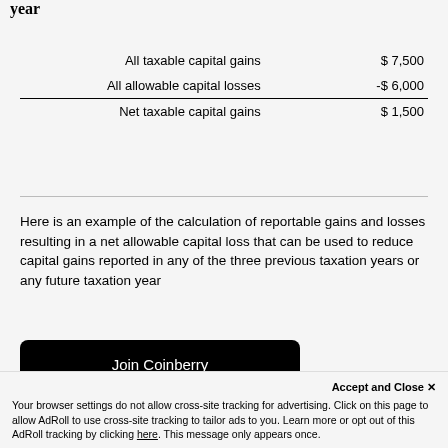year
|  |  |
| --- | --- |
| All taxable capital gains | $7,500 |
| All allowable capital losses | -$6,000 |
| Net taxable capital gains | $1,500 |
Here is an example of the calculation of reportable gains and losses resulting in a net allowable capital loss that can be used to reduce capital gains reported in any of the three previous taxation years or any future taxation year
Join Coinberry
Accept and Close ✕
Your browser settings do not allow cross-site tracking for advertising. Click on this page to allow AdRoll to use cross-site tracking to tailor ads to you. Learn more or opt out of this AdRoll tracking by clicking here. This message only appears once.